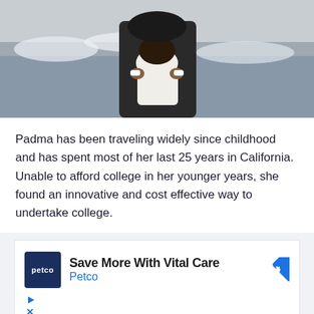[Figure (photo): A person in dark clothing holding a small child in a white dotted outfit near water/waves in the background]
Padma has been traveling widely since childhood and has spent most of her last 25 years in California. Unable to afford college in her younger years, she found an innovative and cost effective way to undertake college.
[Figure (screenshot): Advertisement: Petco logo with text 'Save More With Vital Care' and 'Petco' in blue, with a blue diamond arrow icon, and play/close controls below]